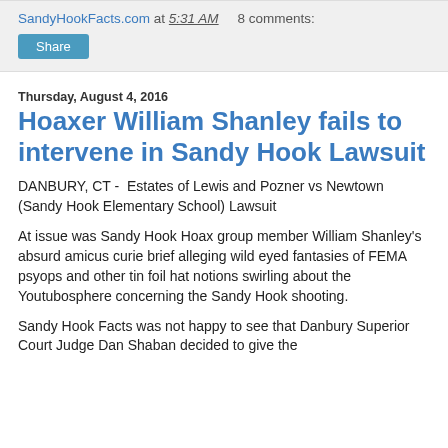SandyHookFacts.com at 5:31 AM   8 comments:
Share
Thursday, August 4, 2016
Hoaxer William Shanley fails to intervene in Sandy Hook Lawsuit
DANBURY, CT -  Estates of Lewis and Pozner vs Newtown (Sandy Hook Elementary School) Lawsuit
At issue was Sandy Hook Hoax group member William Shanley's absurd amicus curie brief alleging wild eyed fantasies of FEMA psyops and other tin foil hat notions swirling about the Youtubosphere concerning the Sandy Hook shooting.
Sandy Hook Facts was not happy to see that Danbury Superior Court Judge Dan Shaban decided to give the